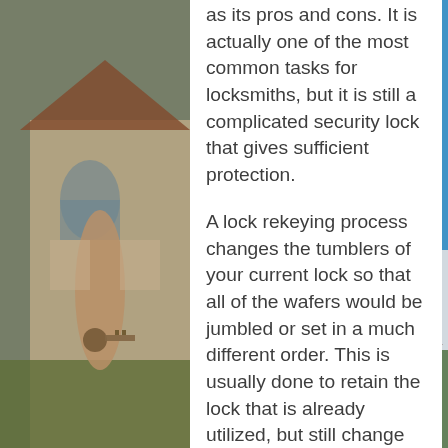[Figure (photo): Background photo collage: left side shows a house exterior with a person holding keys, right side shows a close-up of a finger/hand against a blue sky background with a house in the lower right corner. Center white column contains article text.]
as its pros and cons. It is actually one of the most common tasks for locksmiths, but it is still a complicated security lock that gives sufficient protection.
A lock rekeying process changes the tumblers of your current lock so that all of the wafers would be jumbled or set in a much different order. This is usually done to retain the lock that is already utilized, but still change the keys entirely. A competent locksmith can easily use the newer